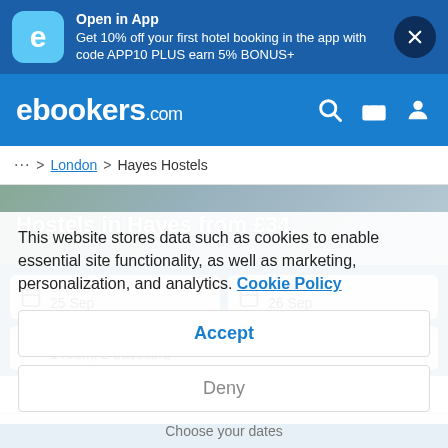[Figure (screenshot): App promotion banner with ebookers logo and close button]
Open in App
Get 10% off your first hotel booking in the app with code APP10 PLUS earn 5% BONUS+
[Figure (screenshot): ebookers.com navigation bar with search, briefcase and account icons]
ebookers.com
... > London > Hayes Hostels
Hostels in Hayes from £34
Check-in 25 Sep
Check-out 26 Sep
Guests
1 room, 2 travellers
This website stores data such as cookies to enable essential site functionality, as well as marketing, personalization, and analytics. Cookie Policy
Accept
Deny
Choose your dates